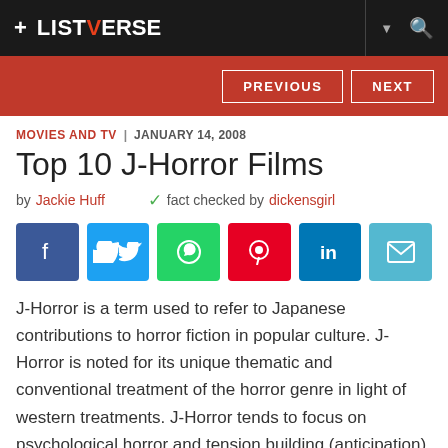+ LISTVERSE
MOVIES AND TV | JANUARY 14, 2008
Top 10 J-Horror Films
by Jackie Huff  fact checked by dickensgirl
[Figure (other): Social share buttons: Facebook, Twitter, WhatsApp, Pinterest, LinkedIn, Email]
J-Horror is a term used to refer to Japanese contributions to horror fiction in popular culture. J-Horror is noted for its unique thematic and conventional treatment of the horror genre in light of western treatments. J-Horror tends to focus on psychological horror and tension building (anticipation), particularly involving ghosts and